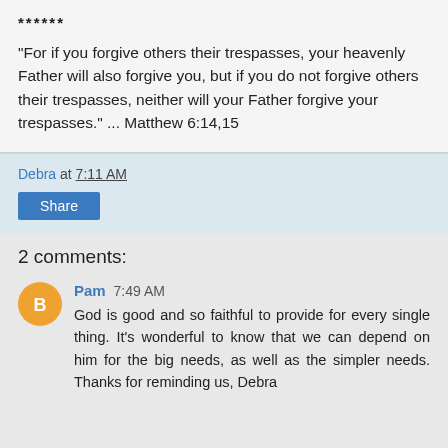******
"For if you forgive others their trespasses, your heavenly Father will also forgive you, but if you do not forgive others their trespasses, neither will your Father forgive your trespasses." ... Matthew 6:14,15
Debra at 7:11 AM
Share
2 comments:
Pam  7:49 AM
God is good and so faithful to provide for every single thing. It's wonderful to know that we can depend on him for the big needs, as well as the simpler needs. Thanks for reminding us, Debra